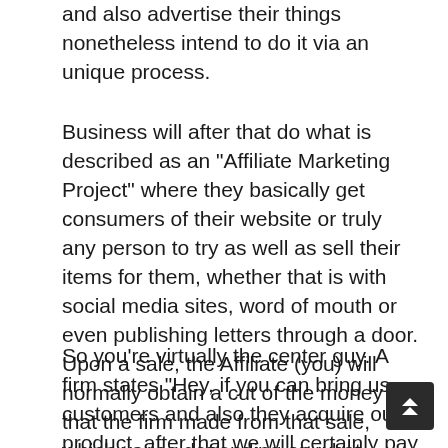and also advertise their things nonetheless intend to do it via an unique process.
Business will after that do what is described as an "Affiliate Marketing Project" where they basically get consumers of their website or truly any person to try as well as sell their items for them, whether that is with social media sites, word of mouth or even publishing letters through a door. Upon a sale, the Affiliate (you) will normally obtain a cut of the money that the firm made from that sale, which varies depending on what business you are doing the affiliate marketing for.
So you're virtually the center guy. A firm states "Hey, if you can bring us customers and also they acquire our product, after that we will certainly pay you for that sale!"